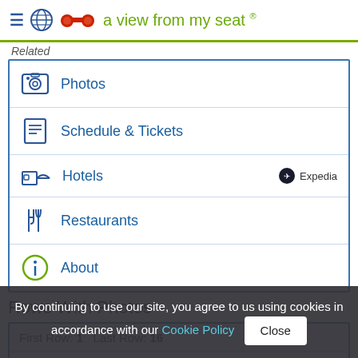a view from my seat ®
Related
Photos
Schedule & Tickets
Hotels
Restaurants
About
Rows With Photos
| First Row | Last Row |
| --- | --- |
| 1 | 16 |
Row 1 – Row 4
Seating Chart
By continuing to use our site, you agree to us using cookies in accordance with our Cookie Policy  Close